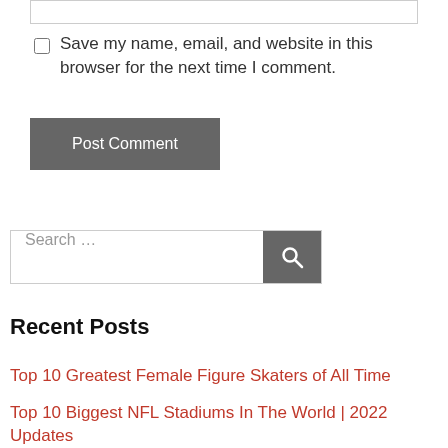[Website input field]
Save my name, email, and website in this browser for the next time I comment.
Post Comment
Search …
Recent Posts
Top 10 Greatest Female Figure Skaters of All Time
Top 10 Biggest NFL Stadiums In The World | 2022 Updates